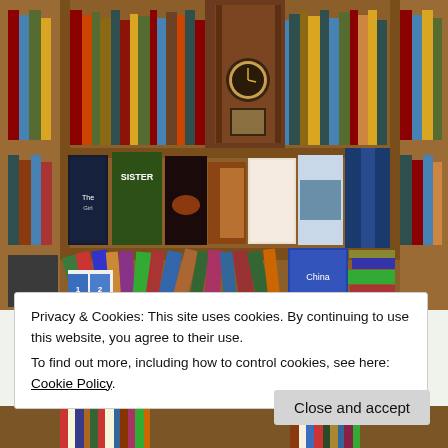[Figure (photo): Interior of a used bookstore showing wooden shelves filled with books. Upper shelves have upright books and a decorative wooden clock/barometer unit in the center. Middle shelf displays books face-out including titles like 'Sister' and others. Lower shelf has books leaning and stacked haphazardly including 'China' and volumes labeled 1 and 2.]
Privacy & Cookies: This site uses cookies. By continuing to use this website, you agree to their use.
To find out more, including how to control cookies, see here: Cookie Policy
Close and accept
[Figure (photo): Bottom strip showing partial view of more bookstore shelves]